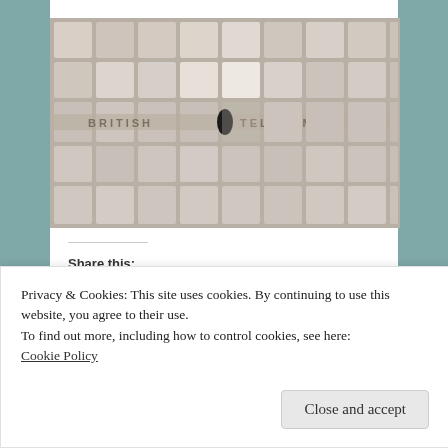[Figure (photo): A British Telecom manhole cover made of concrete or cast iron with a grid of square tiles/blocks, the text 'BRITISH TELECOM' embossed across the middle row, with a black oval hole/keyhole visible in the center.]
Share this:
Twitter
Facebook
Privacy & Cookies: This site uses cookies. By continuing to use this website, you agree to their use.
To find out more, including how to control cookies, see here:
Cookie Policy
Close and accept